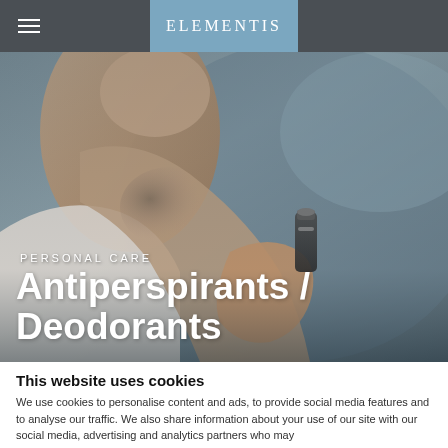ELEMENTIS
[Figure (photo): Close-up photo of a person applying a deodorant/antiperspirant stick to their underarm area, against a blurred blue-grey background. PERSONAL CARE label and Antiperspirants / Deodorants title are overlaid on the image.]
PERSONAL CARE
Antiperspirants / Deodorants
This website uses cookies
We use cookies to personalise content and ads, to provide social media features and to analyse our traffic. We also share information about your use of our site with our social media, advertising and analytics partners who may